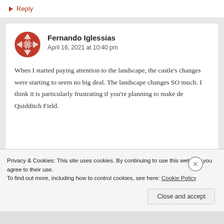↳ Reply
[Figure (illustration): Circular avatar with red geometric diamond/triangle pattern design]
Fernando Iglessias
April 16, 2021 at 10:40 pm
When I started paying attention to the landscape, the castle's changes were starting to seem no big deal. The landscape changes SO much. I think it is particularly frustrating if you're planning to make de Quidditch Field.
Privacy & Cookies: This site uses cookies. By continuing to use this website, you agree to their use.
To find out more, including how to control cookies, see here: Cookie Policy
Close and accept